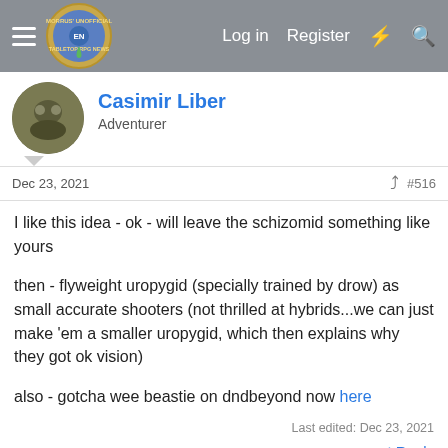Morrus' Unofficial Tabletop RPG News — Log in  Register
Casimir Liber
Adventurer
Dec 23, 2021   #516
I like this idea - ok - will leave the schizomid something like yours

then - flyweight uropygid (specially trained by drow) as small accurate shooters (not thrilled at hybrids...we can just make 'em a smaller uropygid, which then explains why they got ok vision)

also - gotcha wee beastie on dndbeyond now here
Last edited: Dec 23, 2021
Reply